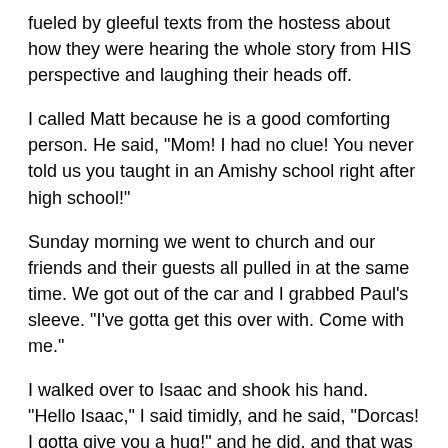fueled by gleeful texts from the hostess about how they were hearing the whole story from HIS perspective and laughing their heads off.
I called Matt because he is a good comforting person. He said, "Mom! I had no clue! You never told us you taught in an Amishy school right after high school!"
Sunday morning we went to church and our friends and their guests all pulled in at the same time. We got out of the car and I grabbed Paul's sleeve. "I've gotta get this over with. Come with me."
I walked over to Isaac and shook his hand. "Hello Isaac," I said timidly, and he said, "Dorcas! I gotta give you a hug!" and he did, and that was one of the most healing moments of my whole life.
Later we talked more and caught up with both our families. Isaac is a nice guy with a lovely wife and family. He had a kind look in his eyes and a great sense of humor, and he is way cooler than me. I hope he could see that the Holy Spirit